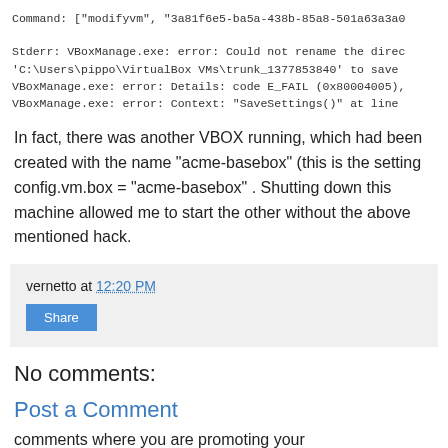Command: ["modifyvm", "3a81f6e5-ba5a-438b-85a8-501a63a3a0...
Stderr: VBoxManage.exe: error: Could not rename the direc...
'C:\Users\pippo\VirtualBox VMs\trunk_1377853840' to save...
VBoxManage.exe: error: Details: code E_FAIL (0x80004005),
VBoxManage.exe: error: Context: "SaveSettings()" at line...
In fact, there was another VBOX running, which had been created with the name "acme-basebox" (this is the setting config.vm.box = "acme-basebox" . Shutting down this machine allowed me to start the other without the above mentioned hack.
vernetto at 12:20 PM
Share
No comments:
Post a Comment
comments where you are promoting your